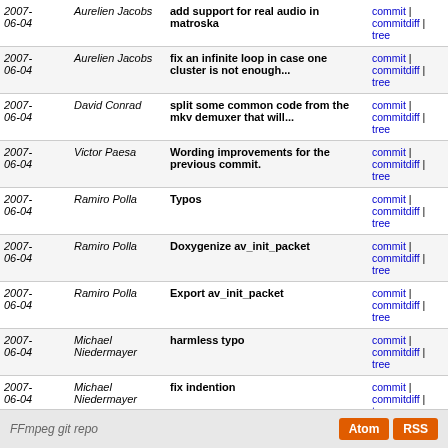| Date | Author | Message | Links |
| --- | --- | --- | --- |
| 2007-06-04 | Aurelien Jacobs | add support for real audio in matroska | commit | commitdiff | tree |
| 2007-06-04 | Aurelien Jacobs | fix an infinite loop in case one cluster is not enough... | commit | commitdiff | tree |
| 2007-06-04 | David Conrad | split some common code from the mkv demuxer that will... | commit | commitdiff | tree |
| 2007-06-04 | Victor Paesa | Wording improvements for the previous commit. | commit | commitdiff | tree |
| 2007-06-04 | Ramiro Polla | Typos | commit | commitdiff | tree |
| 2007-06-04 | Ramiro Polla | Doxygenize av_init_packet | commit | commitdiff | tree |
| 2007-06-04 | Ramiro Polla | Export av_init_packet | commit | commitdiff | tree |
| 2007-06-04 | Michael Niedermayer | harmless typo | commit | commitdiff | tree |
| 2007-06-04 | Michael Niedermayer | fix indention | commit | commitdiff | tree |
| 2007-06-04 | Michael Niedermayer | remove duplicate PAT scaning code and actual PAT scan | commit | commitdiff | tree |
| 2007-06-04 | Michael Niedermayer | unused variables | commit | commitdiff | tree |
next
FFmpeg git repo